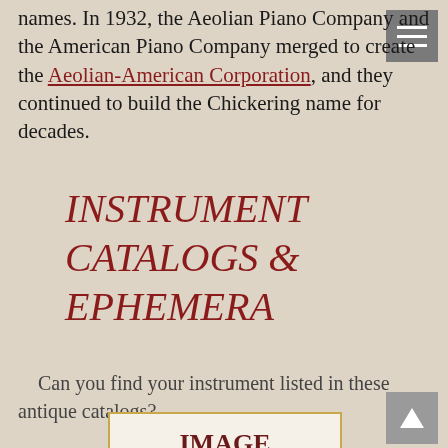names. In 1932, the Aeolian Piano Company and the American Piano Company merged to create the Aeolian-American Corporation, and they continued to build the Chickering name for decades.
INSTRUMENT CATALOGS & EPHEMERA
Can you find your instrument listed in these antique catalogs?
[Figure (other): Placeholder image box with border showing 'IMAGE COMING' text]